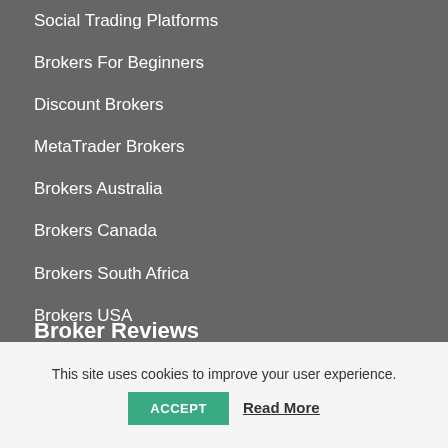Social Trading Platforms
Brokers For Beginners
Discount Brokers
MetaTrader Brokers
Brokers Australia
Brokers Canada
Brokers South Africa
Brokers USA
Brokers UK
Broker Reviews
This site uses cookies to improve your user experience.
ACCEPT
Read More